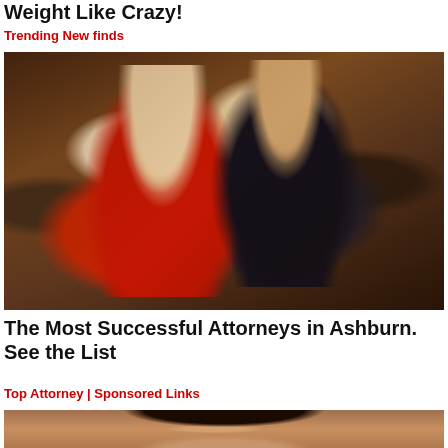Weight Like Crazy!
Trending New finds
[Figure (photo): A couple at a formal event. A woman in a red strapless gown and a man in a black tuxedo with bow tie and white boutonniere, standing in a banquet hall.]
The Most Successful Attorneys in Ashburn. See the List
Top Attorney | Sponsored Links
[Figure (photo): Partial view of a person's face with dark hair, cropped at the bottom of the page.]